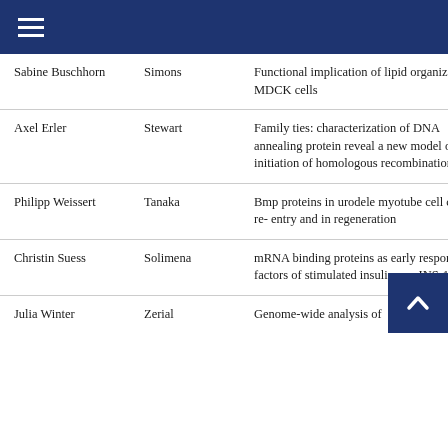Navigation menu
| Sabine Buschhorn | Simons | Functional implication of lipid organization in MDCK cells |
| Axel Erler | Stewart | Family ties: characterization of DNA annealing protein reveal a new model or the initiation of homologous recombination |
| Philipp Weissert | Tanaka | Bmp proteins in urodele myotube cell cycle re- entry and in regeneration |
| Christin Suess | Solimena | mRNA binding proteins as early response factors of stimulated insulinoma INS-1 cells |
| Julia Winter | Zerial | Genome-wide analysis of |